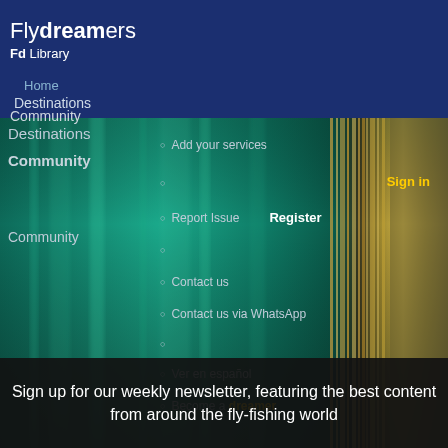Fly dreamers Fd Library
Home
Destinations
Community
Community
Add your services
Sign in
Register
Report Issue
Contact us
Contact us via WhatsApp
Ver en español
Become a dreamer
[Figure (photo): Abstract teal and green motion-blur background with golden vertical streaks on the right side]
Sign up for our weekly newsletter, featuring the best content from around the fly-fishing world